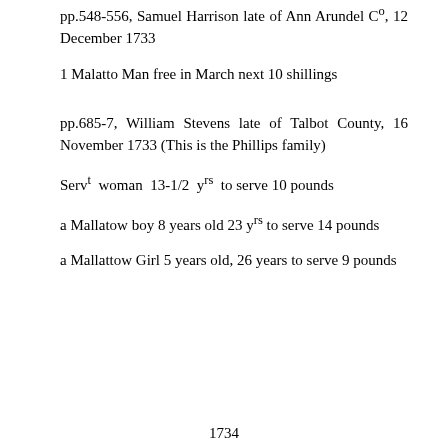pp.548-556, Samuel Harrison late of Ann Arundel Cº, 12 December 1733
1 Malatto Man free in March next 10 shillings
pp.685-7, William Stevens late of Talbot County, 16 November 1733 (This is the Phillips family)
Servt woman 13-1/2 yrs to serve 10 pounds
a Mallatow boy 8 years old 23 yrs to serve 14 pounds
a Mallattow Girl 5 years old, 26 years to serve 9 pounds
1734